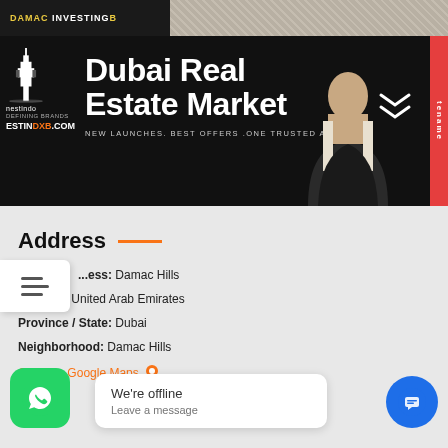[Figure (screenshot): DAMAC INVESTINDXB top banner strip with yellow/white logo text on dark background and textured right side]
[Figure (screenshot): Black banner for Dubai Real Estate Market website - nestindo logo with Burj Khalifa icon, ESTINDXB.COM text, main heading 'Dubai Real Estate Market', subtitle 'NEW LAUNCHES. BEST OFFERS .ONE TRUSTED ADVISER', person photo, red side tab, chevron arrows]
Address
Address: Damac Hills
Country: United Arab Emirates
Province / State: Dubai
Neighborhood: Damac Hills
Open on Google Maps
[Figure (screenshot): Chat offline widget showing 'We're offline / Leave a message', WhatsApp green button, blue chat icon button]